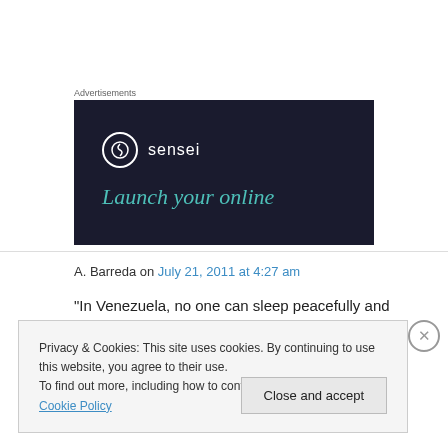Advertisements
[Figure (logo): Sensei brand advertisement banner with dark background showing sensei logo and tagline 'Launch your online']
A. Barreda on July 21, 2011 at 4:27 am
“In Venezuela, no one can sleep peacefully and
Privacy & Cookies: This site uses cookies. By continuing to use this website, you agree to their use.
To find out more, including how to control cookies, see here: Cookie Policy
Close and accept